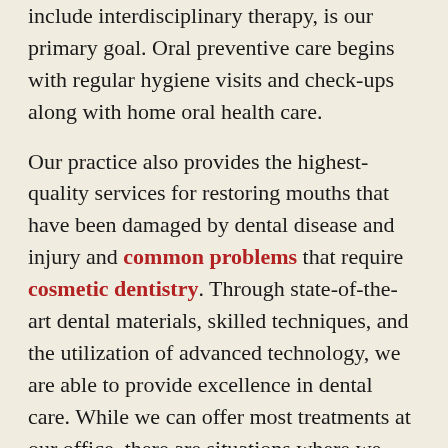include interdisciplinary therapy, is our primary goal. Oral preventive care begins with regular hygiene visits and check-ups along with home oral health care.
Our practice also provides the highest-quality services for restoring mouths that have been damaged by dental disease and injury and common problems that require cosmetic dentistry. Through state-of-the-art dental materials, skilled techniques, and the utilization of advanced technology, we are able to provide excellence in dental care. While we can offer most treatments at our office, there are situations where we utilize the skills of our highly talented team of specialists.
We appreciate your interest in our practice.